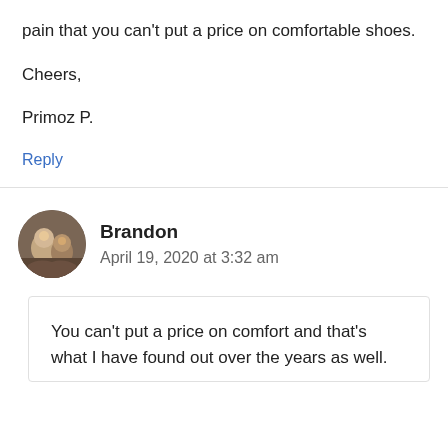pain that you can't put a price on comfortable shoes.
Cheers,
Primoz P.
Reply
Brandon
April 19, 2020 at 3:32 am
You can't put a price on comfort and that's what I have found out over the years as well.